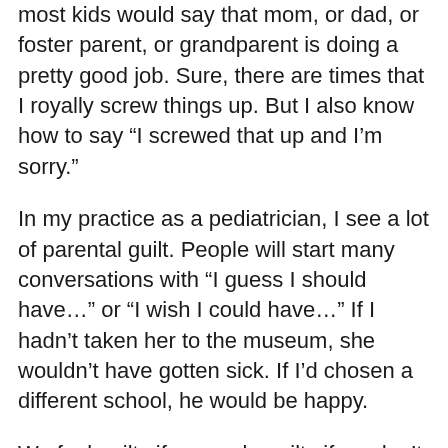most kids would say that mom, or dad, or foster parent, or grandparent is doing a pretty good job. Sure, there are times that I royally screw things up. But I also know how to say “I screwed that up and I’m sorry.”
In my practice as a pediatrician, I see a lot of parental guilt. People will start many conversations with “I guess I should have…” or “I wish I could have…” If I hadn’t taken her to the museum, she wouldn’t have gotten sick. If I’d chosen a different school, he would be happy.
We feel guilty if we work, guilty if we don’t work. Guilty about nutrition, screen time, taking the easy way out of discipline sometimes because we just don’t have the energy. We take on our kids’ failures as our own failures. I think it’s OK to verbalize our regrets and allow ourselves momentary guilt. But let’s take a lesson from the